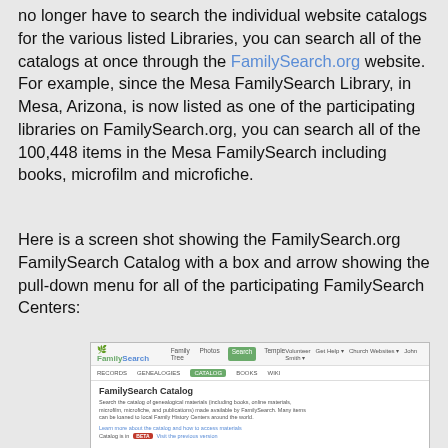no longer have to search the individual website catalogs for the various listed Libraries, you can search all of the catalogs at once through the FamilySearch.org website. For example, since the Mesa FamilySearch Library, in Mesa, Arizona, is now listed as one of the participating libraries on FamilySearch.org, you can search all of the 100,448 items in the Mesa FamilySearch including books, microfilm and microfiche.
Here is a screen shot showing the FamilySearch.org FamilySearch Catalog with a box and arrow showing the pull-down menu for all of the participating FamilySearch Centers:
[Figure (screenshot): Screenshot of FamilySearch.org FamilySearch Catalog page showing navigation tabs, catalog description, BETA label, search by fields, and a red arrow pointing to a pull-down menu for FamilySearch Centers]